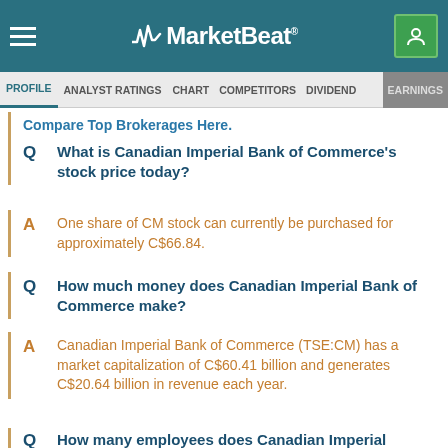MarketBeat
PROFILE  ANALYST RATINGS  CHART  COMPETITORS  DIVIDEND  EARNINGS
Compare Top Brokerages Here.
Q  What is Canadian Imperial Bank of Commerce's stock price today?
A  One share of CM stock can currently be purchased for approximately C$66.84.
Q  How much money does Canadian Imperial Bank of Commerce make?
A  Canadian Imperial Bank of Commerce (TSE:CM) has a market capitalization of C$60.41 billion and generates C$20.64 billion in revenue each year.
Q  How many employees does Canadian Imperial